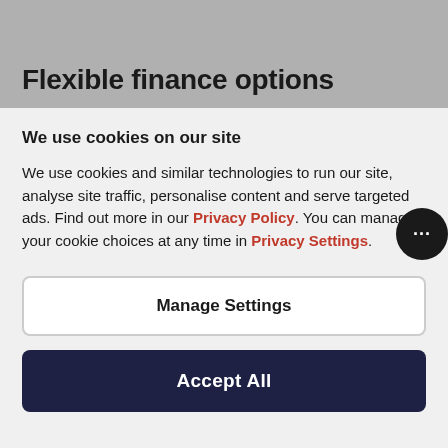Flexible finance options
We use cookies on our site
We use cookies and similar technologies to run our site, analyse site traffic, personalise content and serve targeted ads. Find out more in our Privacy Policy. You can manage your cookie choices at any time in Privacy Settings.
Manage Settings
Accept All